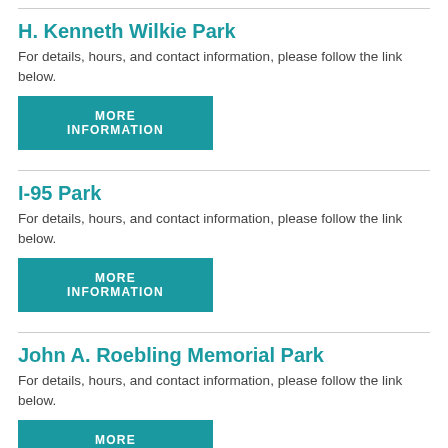H. Kenneth Wilkie Park
For details, hours, and contact information, please follow the link below.
MORE INFORMATION
I-95 Park
For details, hours, and contact information, please follow the link below.
MORE INFORMATION
John A. Roebling Memorial Park
For details, hours, and contact information, please follow the link below.
MORE INFORMATION